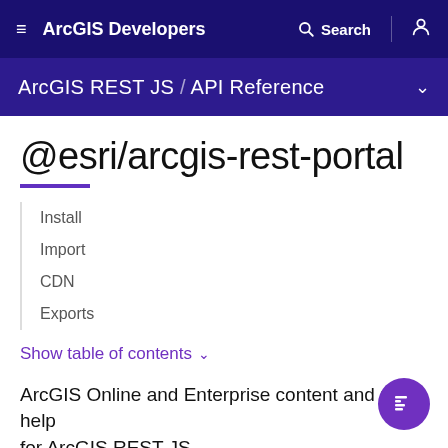ArcGIS Developers
ArcGIS REST JS / API Reference
@esri/arcgis-rest-portal
Install
Import
CDN
Exports
Show table of contents ✓
ArcGIS Online and Enterprise content and user help for ArcGIS REST JS.